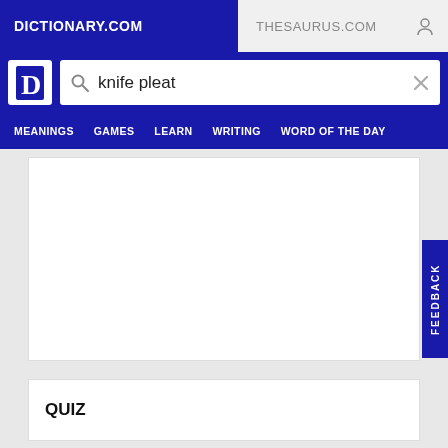DICTIONARY.COM | THESAURUS.COM
knife pleat
MEANINGS  GAMES  LEARN  WRITING  WORD OF THE DAY
QUIZ